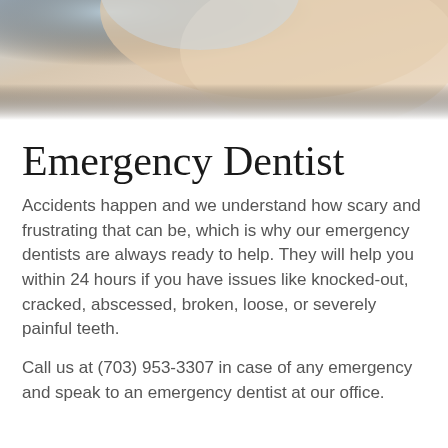[Figure (photo): Close-up photo of a person's neck/shoulder area with skin tones and light clothing, soft lighting]
Emergency Dentist
Accidents happen and we understand how scary and frustrating that can be, which is why our emergency dentists are always ready to help. They will help you within 24 hours if you have issues like knocked-out, cracked, abscessed, broken, loose, or severely painful teeth.
Call us at (703) 953-3307 in case of any emergency and speak to an emergency dentist at our office.